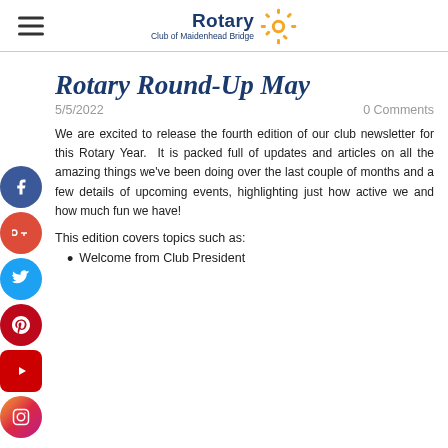Rotary Club of Maidenhead Bridge
Rotary Round-Up May
5/5/2022    0 Comments
We are excited to release the fourth edition of our club newsletter for this Rotary Year.  It is packed full of updates and articles on all the amazing things we've been doing over the last couple of months and a few details of upcoming events, highlighting just how active we and how much fun we have!
This edition covers topics such as:
Welcome from Club President